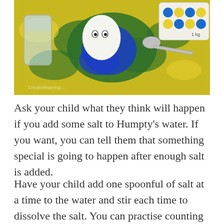[Figure (photo): Photo of a craft activity scene showing yellow and blue paint splattered paper, a white egg with a drawn face (Humpty), a glass container with water, a spoon, and a box of eggs with blue and yellow decorations on top.]
Ask your child what they think will happen if you add some salt to Humpty's water. If you want, you can tell them that something special is going to happen after enough salt is added.
Have your child add one spoonful of salt at a time to the water and stir each time to dissolve the salt. You can practise counting as the salt is